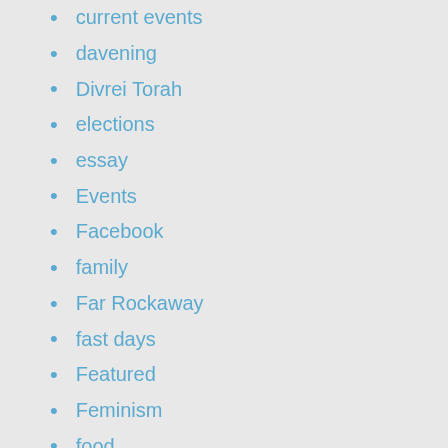current events
davening
Divrei Torah
elections
essay
Events
Facebook
family
Far Rockaway
fast days
Featured
Feminism
food
Forward
Frum Satire
frummies
gay
Girls
God